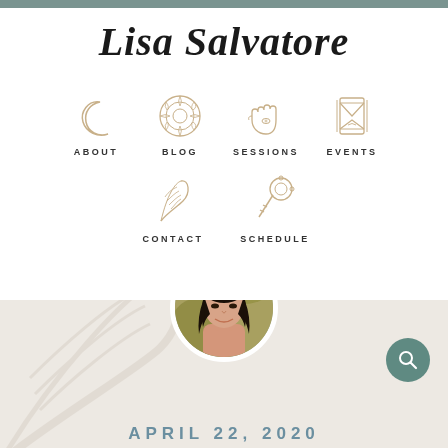Lisa Salvatore
[Figure (screenshot): Navigation menu with icons: ABOUT (crescent moon), BLOG (mandala/sun circle), SESSIONS (hamsa hand), EVENTS (hourglass), CONTACT (feather), SCHEDULE (key)]
[Figure (photo): Circular profile photo of a woman with dark hair, smiling, outdoors]
APRIL 22, 2020